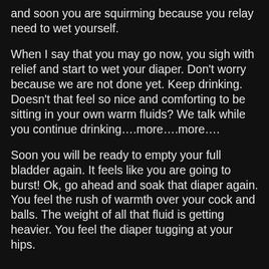and soon you are squirming because you relay need to wet yourself.
When I say that you may go now, you sigh with relief and start to wet your diaper. Don't worry because we are not done yet. Keep drinking. Doesn't that feel so nice and comforting to be sitting in your own warm fluids? We talk while you continue drinking….more….more….
Soon you will be ready to empty your full bladder again. It feels like you are going to burst! Ok, go ahead and soak that diaper again. You feel the rush of warmth over your cock and balls. The weight of all that fluid is getting heavier. You feel the diaper tugging at your hips.